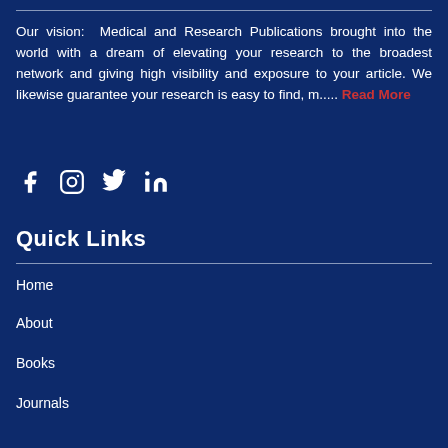Our vision:  Medical and Research Publications brought into the world with a dream of elevating your research to the broadest network and giving high visibility and exposure to your article. We likewise guarantee your research is easy to find, m..... Read More
[Figure (other): Social media icons: Facebook, Instagram, Twitter, LinkedIn in white on dark blue background]
Quick Links
Home
About
Books
Journals